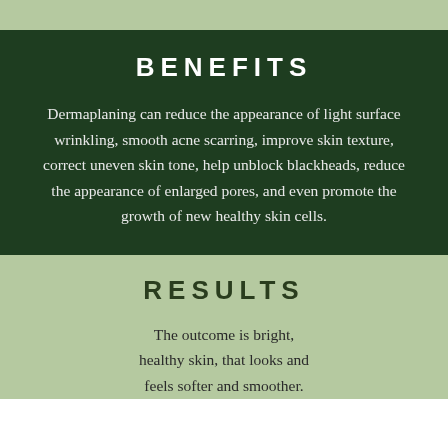BENEFITS
Dermaplaning can reduce the appearance of light surface wrinkling, smooth acne scarring, improve skin texture, correct uneven skin tone, help unblock blackheads, reduce the appearance of enlarged pores, and even promote the growth of new healthy skin cells.
RESULTS
The outcome is bright, healthy skin, that looks and feels softer and smoother.